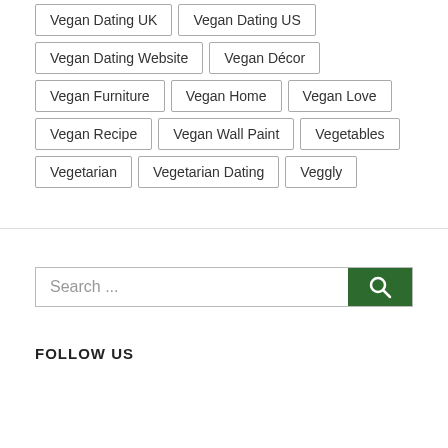Vegan Dating UK
Vegan Dating US
Vegan Dating Website
Vegan Décor
Vegan Furniture
Vegan Home
Vegan Love
Vegan Recipe
Vegan Wall Paint
Vegetables
Vegetarian
Vegetarian Dating
Veggly
Search ...
FOLLOW US